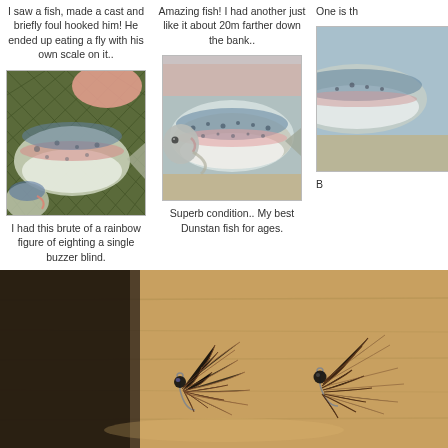I saw a fish, made a cast and briefly foul hooked him! He ended up eating a fly with his own scale on it..
Amazing fish! I had another just like it about 20m farther down the bank..
One is th
[Figure (photo): Close-up photo of a rainbow trout fish held in a net]
[Figure (photo): Close-up photo of a rainbow trout fish in water showing side profile]
[Figure (photo): Partially visible third fish photo cropped on right edge]
I had this brute of a rainbow figure of eighting a single buzzer blind.
Superb condition.. My best Dunstan fish for ages.
B
[Figure (photo): Close-up photo of fishing flies (buzzers/lures) with dark brown marabou feathers and black beadheads arranged on a wooden surface]